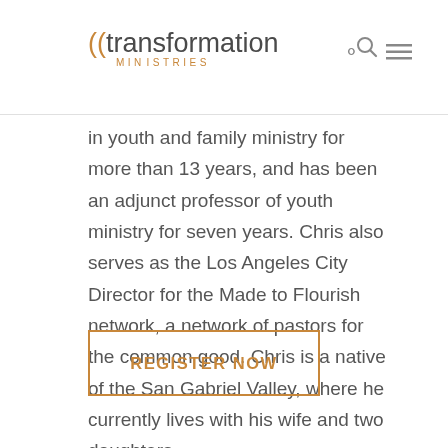transformation ministries
in youth and family ministry for more than 13 years, and has been an adjunct professor of youth ministry for seven years. Chris also serves as the Los Angeles City Director for the Made to Flourish network, a network of pastors for the common good. Chris is a native of the San Gabriel Valley, where he currently lives with his wife and two daughters.
REGISTER NOW